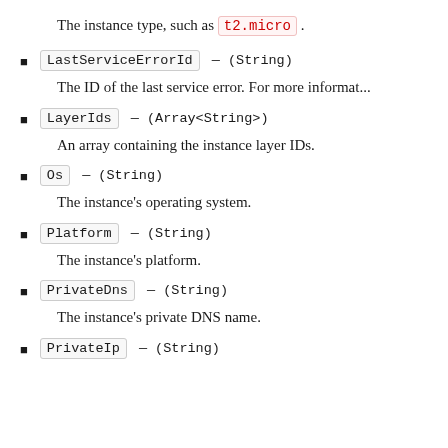The instance type, such as t2.micro.
LastServiceErrorId — (String)
The ID of the last service error. For more informat...
LayerIds — (Array<String>)
An array containing the instance layer IDs.
Os — (String)
The instance's operating system.
Platform — (String)
The instance's platform.
PrivateDns — (String)
The instance's private DNS name.
PrivateIp — (String)